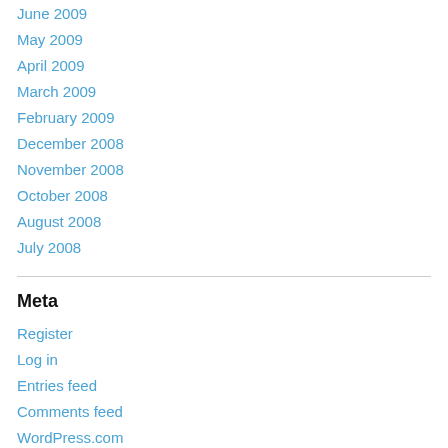June 2009
May 2009
April 2009
March 2009
February 2009
December 2008
November 2008
October 2008
August 2008
July 2008
Meta
Register
Log in
Entries feed
Comments feed
WordPress.com